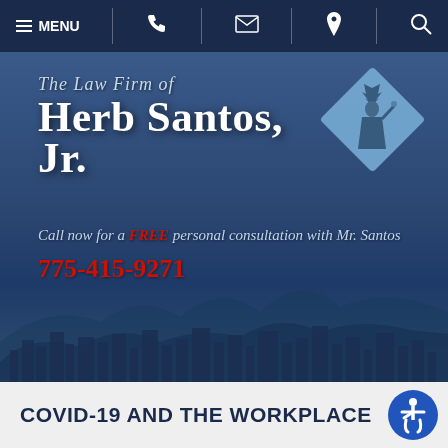MENU | Phone | Email | Location | Search
[Figure (logo): The Law Firm of Herb Santos, Jr. logo with Statue of Liberty diamond emblem on blue background with city skyline]
Call now for a FREE personal consultation with Mr. Santos
775-415-9271
COVID-19 AND THE WORKPLACE